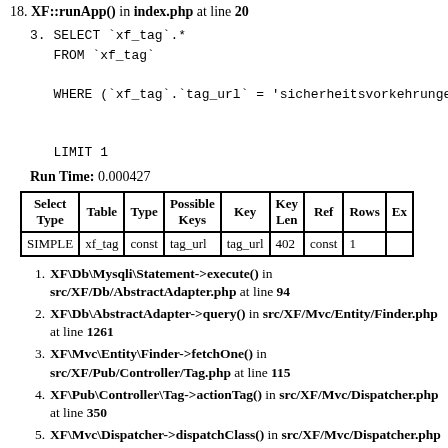18. XF::runApp() in index.php at line 20
3. SELECT `xf_tag`.* FROM `xf_tag` WHERE (`xf_tag`.`tag_url` = 'sicherheitsvorkehrunge... LIMIT 1
Run Time: 0.000427
| Select Type | Table | Type | Possible Keys | Key | Key Len | Ref | Rows | Ex... |
| --- | --- | --- | --- | --- | --- | --- | --- | --- |
| SIMPLE | xf_tag | const | tag_url | tag_url | 402 | const | 1 |  |
1. XF\Db\Mysqli\Statement->execute() in src/XF/Db/AbstractAdapter.php at line 94
2. XF\Db\AbstractAdapter->query() in src/XF/Mvc/Entity/Finder.php at line 1261
3. XF\Mvc\Entity\Finder->fetchOne() in src/XF/Pub/Controller/Tag.php at line 115
4. XF\Pub\Controller\Tag->actionTag() in src/XF/Mvc/Dispatcher.php at line 350
5. XF\Mvc\Dispatcher->dispatchClass() in src/XF/Mvc/Dispatcher.php at line 261
6. XF\Mvc\Dispatcher->dispatchFromMatch() in